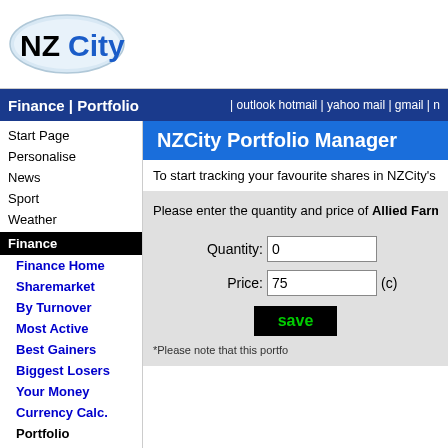[Figure (logo): NZCity logo - oval shaped with NZ in bold black and City in blue text]
Finance | Portfolio | outlook hotmail | yahoo mail | gmail | n
NZCity Portfolio Manager
Start Page
Personalise
News
Sport
Weather
Finance
Finance Home
Sharemarket
By Turnover
Most Active
Best Gainers
Biggest Losers
Your Money
Currency Calc.
Portfolio
Personal
Mortgages
Banking
To start tracking your favourite shares in NZCity's Pers below. For h
Please enter the quantity and price of Allied Farm portfolio, and any transaction fees you'd like to re
Quantity: 0
Price: 75 (c)
save
*Please note that this portfo